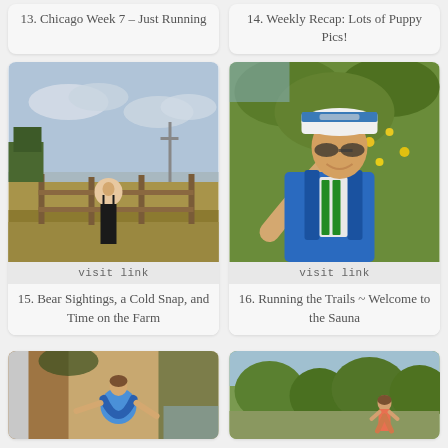13. Chicago Week 7 - Just Running
14. Weekly Recap: Lots of Puppy Pics!
[Figure (photo): Woman runner viewed from behind, standing at a fence looking over a rural farm field with cloudy sky]
visit link
[Figure (photo): Female trail runner in blue vest and white cap with yellow flowers in background, taking a selfie]
visit link
15. Bear Sightings, a Cold Snap, and Time on the Farm
16. Running the Trails ~ Welcome to the Sauna
[Figure (photo): Person doing a yoga or stretching pose outdoors, bending backwards with trees and a building in background]
[Figure (photo): Runner on a path surrounded by green trees and foliage, viewed from behind]